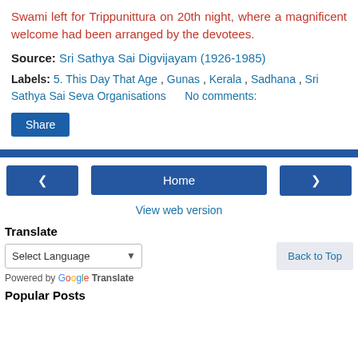Swami left for Trippunittura on 20th night, where a magnificent welcome had been arranged by the devotees.
Source: Sri Sathya Sai Digvijayam (1926-1985)
Labels: 5. This Day That Age , Gunas , Kerala , Sadhana , Sri Sathya Sai Seva Organisations      No comments:
Share
< Home >
View web version
Translate
Select Language
Powered by Google Translate
Back to Top
Popular Posts